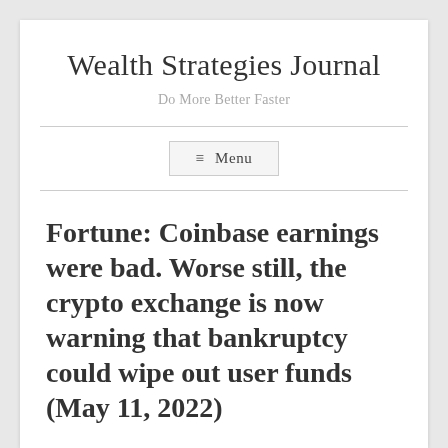Wealth Strategies Journal
Do More Better Faster
≡ Menu
Fortune: Coinbase earnings were bad. Worse still, the crypto exchange is now warning that bankruptcy could wipe out user funds (May 11, 2022)